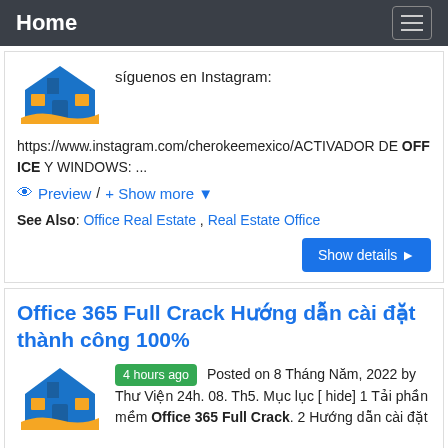Home
[Figure (logo): House logo with blue roof and yellow wave]
síguenos en Instagram:
https://www.instagram.com/cherokeemexico/ACTIVADOR DE OFFICE Y WINDOWS: ...
Preview / + Show more ▼
See Also: Office Real Estate , Real Estate Office
Show details ▶
Office 365 Full Crack Hướng dẫn cài đặt thành công 100%
[Figure (logo): House logo with blue roof and yellow wave]
4 hours ago Posted on 8 Tháng Năm, 2022 by Thư Viện 24h. 08. Th5. Mục lục [ hide] 1 Tải phần mềm Office 365 Full Crack. 2 Hướng dẫn cài đặt